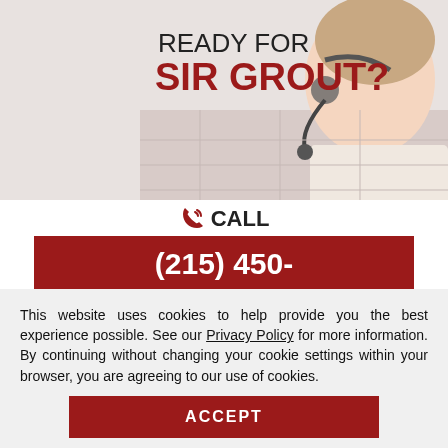[Figure (photo): Marketing image showing 'READY FOR SIR GROUT?' text with a smiling woman wearing a headset on the right side]
CALL
(215) 450-5763
OR CLICK HERE TO SCHEDULE A FREE QUOTE
Sand Free Wood Refin...
This website uses cookies to help provide you the best experience possible. See our Privacy Policy for more information. By continuing without changing your cookie settings within your browser, you are agreeing to our use of cookies.
ACCEPT